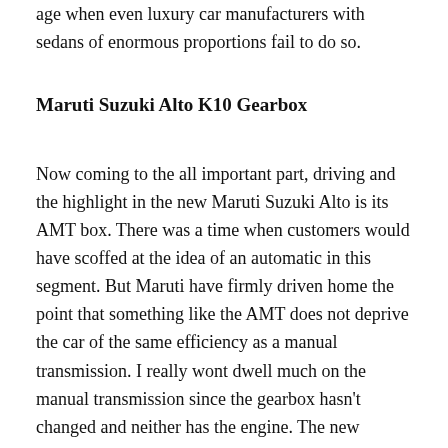age when even luxury car manufacturers with sedans of enormous proportions fail to do so.
Maruti Suzuki Alto K10 Gearbox
Now coming to the all important part, driving and the highlight in the new Maruti Suzuki Alto is its AMT box. There was a time when customers would have scoffed at the idea of an automatic in this segment. But Maruti have firmly driven home the point that something like the AMT does not deprive the car of the same efficiency as a manual transmission. I really wont dwell much on the manual transmission since the gearbox hasn't changed and neither has the engine. The new Maruti Suzuki Alto has the same 1.0-litre K10 petrol and it's more efficient but not more powerful or torquier than before. It's a remarkably zippy car and one of the few naturally aspirated engines that you really enjoy whipping. Its short quick bursts of power (68PS) peak out at 6,000rpm and almost instantly you hit the rev limit at 6,500rpm. People who have driven this car before will recognise the feeling it stirs, to me it was fun on a completely different level.